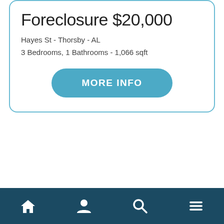Foreclosure $20,000
Hayes St - Thorsby - AL
3 Bedrooms, 1 Bathrooms - 1,066 sqft
[Figure (screenshot): MORE INFO button - rounded teal button with white uppercase text]
Bottom navigation bar with home, user, search, and menu icons